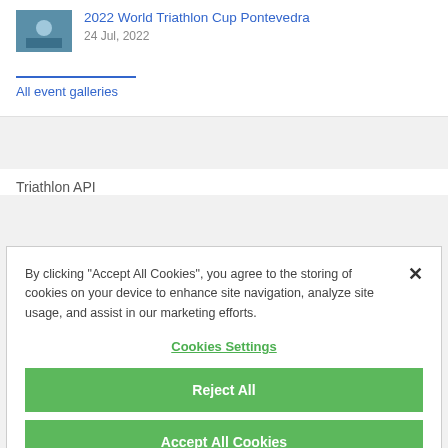2022 World Triathlon Cup Pontevedra
24 Jul, 2022
All event galleries
Triathlon API
By clicking "Accept All Cookies", you agree to the storing of cookies on your device to enhance site navigation, analyze site usage, and assist in our marketing efforts.
Cookies Settings
Reject All
Accept All Cookies